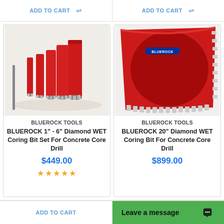ADD TO CART
ADD TO CART
[Figure (photo): Set of red diamond wet coring bits of various sizes (1"-6") for concrete core drill by BLUEROCK TOOLS]
[Figure (photo): Large red 20-inch diamond wet coring bit for concrete core drill by BLUEROCK TOOLS, shown at angle to display serrated edge]
BLUEROCK TOOLS
BLUEROCK 1" - 6" Diamond WET Coring Bit Set For Concrete Core Drill
$449.00
★★★★★
BLUEROCK TOOLS
BLUEROCK 20" Diamond WET Coring Bit For Concrete Core Drill
$899.00
ADD TO CART
Leave a message